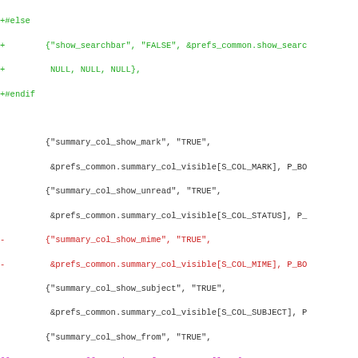Diff/patch code showing changes to a C source file with preprocessor directives and summary column preference parameters